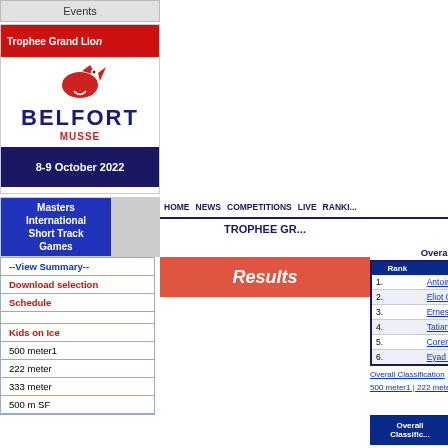Events
[Figure (illustration): Trophee Grand Lion event banner with Belfort logo, red and dark blue coloring, dated 8-9 October 2022]
[Figure (illustration): Masters International Short Track Games banner with blue background]
HOME  NEWS  COMPETITIONS  LIVE  RANKI...
TROPHEE GR...
Results
--View Summary--
Download selection
Schedule
Kids on Ice
500 meter1
222 meter
333 meter
500 m SF
| Rank | Name |
| --- | --- |
| 1. | Antoine CHAMBO... |
| 2. | Eliot GRISIER |
| 3. | Ernest CUNISSE... |
| 4. | Tatiana MIKHAIL... |
| 5. | Corentin DORE |
| 6. | Eyad BENAHME... |
Overall Classification
500 meter1 | 222 meter...